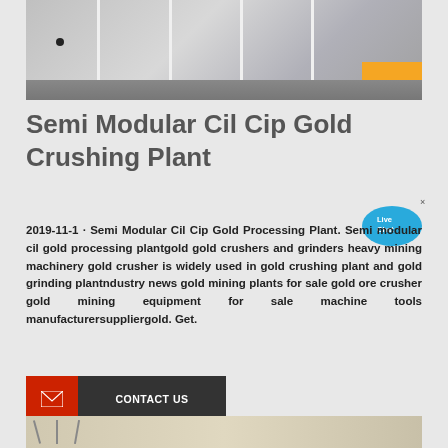[Figure (photo): Photo of industrial metal shelving/machinery parts with dividers, gray tones with orange accent at bottom right]
Semi Modular Cil Cip Gold Crushing Plant
2019-11-1 · Semi Modular Cil Cip Gold Processing Plant. Semi modular cil gold processing plantgold gold crushers and grinders heavy mining machinery gold crusher is widely used in gold crushing plant and gold grinding plantndustry news gold mining plants for sale gold ore crusher gold mining equipment for sale machine tools manufacturersuppliergold. Get.
[Figure (infographic): Live Chat speech bubble icon in blue]
[Figure (other): Contact Us button with red envelope icon on left and dark background with white text on right]
[Figure (photo): Partial bottom photo showing equipment with wooden/metal frame elements]